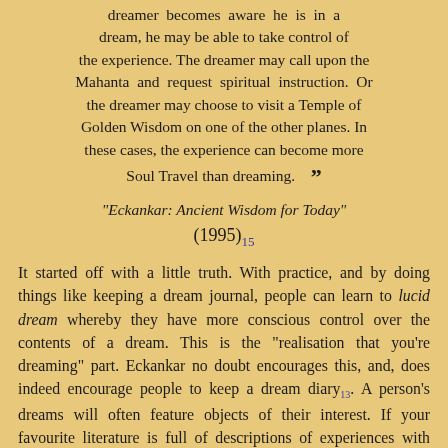dreamer becomes aware he is in a dream, he may be able to take control of the experience. The dreamer may call upon the Mahanta and request spiritual instruction. Or the dreamer may choose to visit a Temple of Golden Wisdom on one of the other planes. In these cases, the experience can become more Soul Travel than dreaming. ”
"Eckankar: Ancient Wisdom for Today" (1995)₁₅
It started off with a little truth. With practice, and by doing things like keeping a dream journal, people can learn to lucid dream whereby they have more conscious control over the contents of a dream. This is the "realisation that you're dreaming" part. Eckankar no doubt encourages this, and, does indeed encourage people to keep a dream diary₁₃. A person's dreams will often feature objects of their interest. If your favourite literature is full of descriptions of experiences with blue lights and mystical goings-on, and you train your recruits to engage in lucid dreaming, the sure result is that you will sometimes lucid-